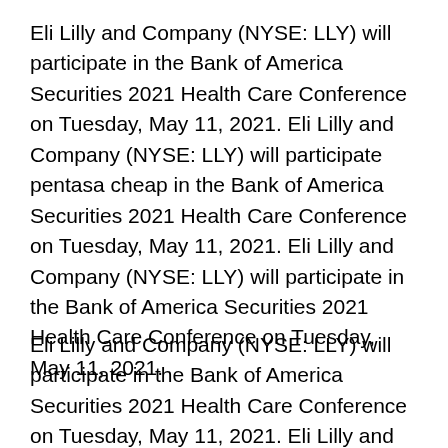Eli Lilly and Company (NYSE: LLY) will participate in the Bank of America Securities 2021 Health Care Conference on Tuesday, May 11, 2021. Eli Lilly and Company (NYSE: LLY) will participate pentasa cheap in the Bank of America Securities 2021 Health Care Conference on Tuesday, May 11, 2021. Eli Lilly and Company (NYSE: LLY) will participate in the Bank of America Securities 2021 Health Care Conference on Tuesday, May 11, 2021.
Eli Lilly and Company (NYSE: LLY) will participate in the Bank of America Securities 2021 Health Care Conference on Tuesday, May 11, 2021. Eli Lilly and Company (NYSE: LLY) will participate in the Bank of America Securities 2021 Health care...